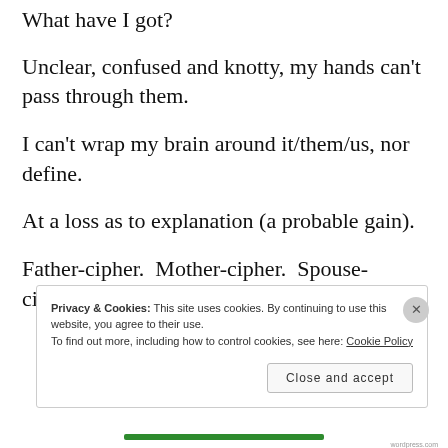What have I got?
Unclear, confused and knotty, my hands can’t pass through them.
I can’t wrap my brain around it/them/us, nor define.
At a loss as to explanation (a probable gain).
Father-cipher.  Mother-cipher.  Spouse-cipher. Family and friend-ciphers.
Privacy & Cookies: This site uses cookies. By continuing to use this website, you agree to their use.
To find out more, including how to control cookies, see here: Cookie Policy
Close and accept